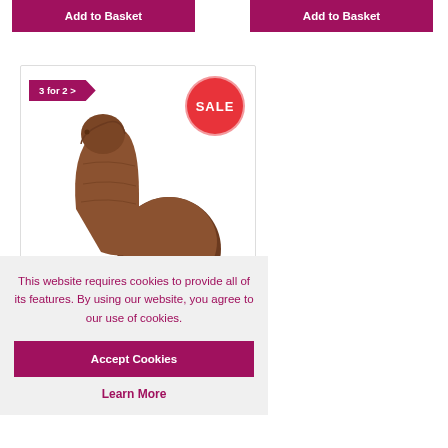[Figure (screenshot): Two purple 'Add to Basket' buttons at top of page, side by side]
[Figure (photo): Product card showing a brown realistic dildo with suction cup base, with a '3 for 2 >' purple badge and a red 'SALE' circular badge]
This website requires cookies to provide all of its features. By using our website, you agree to our use of cookies.
Accept Cookies
Learn More